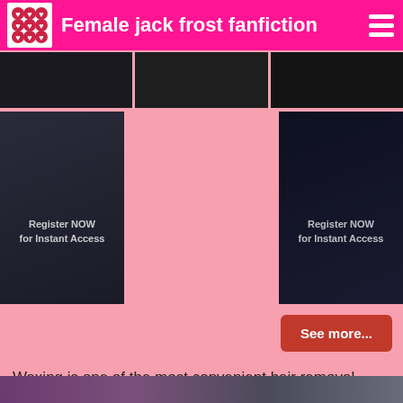Female jack frost fanfiction
[Figure (photo): Three dark thumbnail images at top]
[Figure (photo): Register NOW for Instant Access - blonde woman in dark outfit]
[Figure (photo): Register NOW for Instant Access - fantasy female character]
See more...
Waxing is one of the most convenient hair removal methods.
[Figure (photo): Bottom partial image with purple/dark tones]